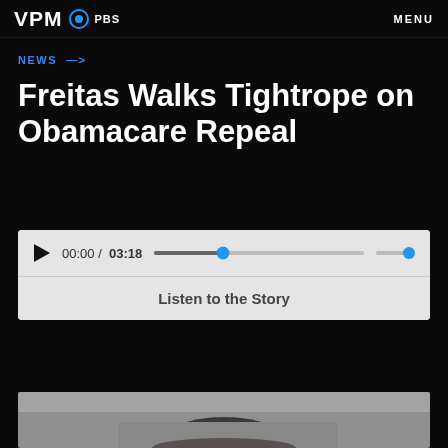VPM PBS  MENU
NEWS →
Freitas Walks Tightrope on Obamacare Repeal
[Figure (other): Audio player with play button, time display 00:00 / 03:18, progress bar with scrubber, and Listen to the Story label]
[Figure (photo): Photograph of a man with dark hair seen from slightly above, outdoors, blurred grey background]